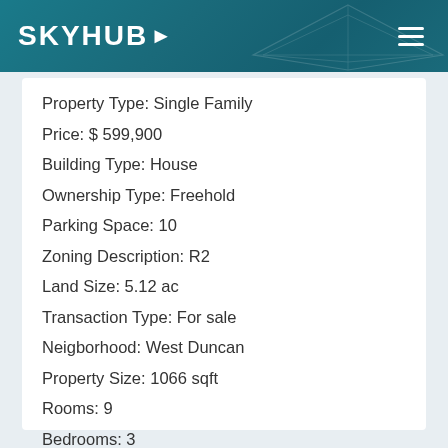SKYHUB
Property Type: Single Family
Price: $ 599,900
Building Type: House
Ownership Type: Freehold
Parking Space: 10
Zoning Description: R2
Land Size: 5.12 ac
Transaction Type: For sale
Neigborhood: West Duncan
Property Size: 1066 sqft
Rooms: 9
Bedrooms: 3
Bathrooms: 1
Year Built: 1972